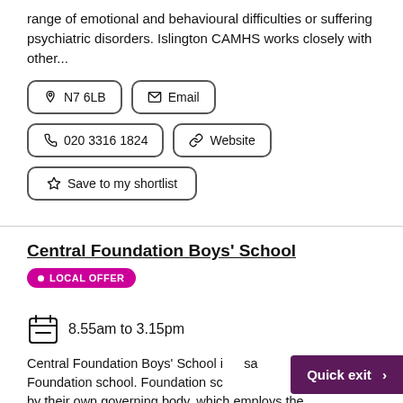range of emotional and behavioural difficulties or suffering psychiatric disorders. Islington CAMHS works closely with other...
N7 6LB
Email
020 3316 1824
Website
Save to my shortlist
Central Foundation Boys' School
LOCAL OFFER
8.55am to 3.15pm
Central Foundation Boys' School is a school. Foundation school. Foundation sc... by their own governing body, which employs the